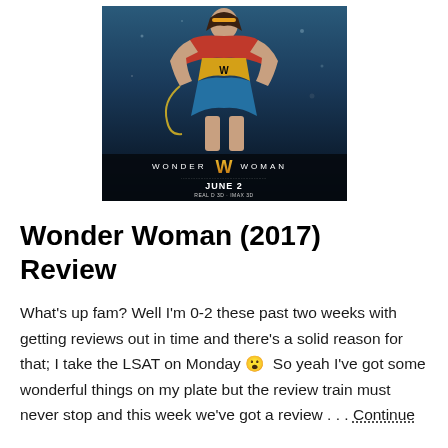[Figure (photo): Wonder Woman (2017) movie poster showing Wonder Woman in action pose with gold armor and lasso, with orange W logo, text 'WONDER WOMAN', 'JUNE 2', and film format info at bottom]
Wonder Woman (2017) Review
What's up fam? Well I'm 0-2 these past two weeks with getting reviews out in time and there's a solid reason for that; I take the LSAT on Monday 😮  So yeah I've got some wonderful things on my plate but the review train must never stop and this week we've got a review . . . Continue